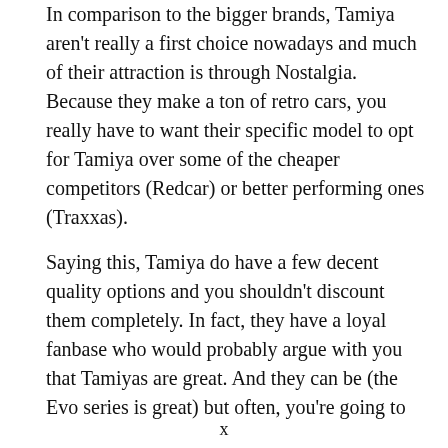In comparison to the bigger brands, Tamiya aren't really a first choice nowadays and much of their attraction is through Nostalgia. Because they make a ton of retro cars, you really have to want their specific model to opt for Tamiya over some of the cheaper competitors (Redcar) or better performing ones (Traxxas).
Saying this, Tamiya do have a few decent quality options and you shouldn't discount them completely. In fact, they have a loyal fanbase who would probably argue with you that Tamiyas are great. And they can be (the Evo series is great) but often, you're going to
x